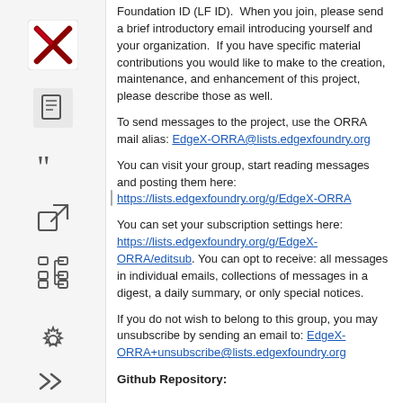[Figure (logo): X (Twitter) logo in dark red/maroon color]
[Figure (illustration): Document/list icon]
[Figure (illustration): Quotation mark icon]
[Figure (illustration): External link icon]
[Figure (illustration): Tree/hierarchy icon]
[Figure (illustration): Settings/gear icon]
[Figure (illustration): Double right arrow icon]
Foundation ID (LF ID).  When you join, please send a brief introductory email introducing yourself and your organization.  If you have specific material contributions you would like to make to the creation, maintenance, and enhancement of this project, please describe those as well.
To send messages to the project, use the ORRA mail alias: EdgeX-ORRA@lists.edgexfoundry.org
You can visit your group, start reading messages and posting them here: https://lists.edgexfoundry.org/g/EdgeX-ORRA
You can set your subscription settings here: https://lists.edgexfoundry.org/g/EdgeX-ORRA/editsub. You can opt to receive: all messages in individual emails, collections of messages in a digest, a daily summary, or only special notices.
If you do not wish to belong to this group, you may unsubscribe by sending an email to: EdgeX-ORRA+unsubscribe@lists.edgexfoundry.org
Github Repository: